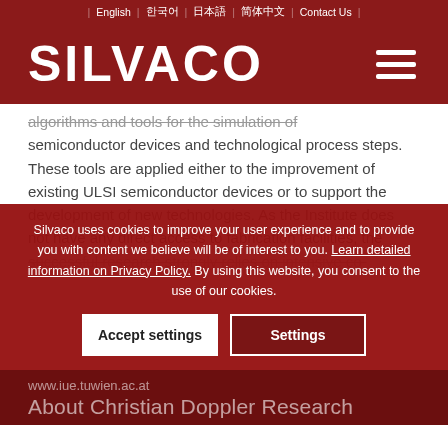English | 한국어 | 日本語 | 简体中文 | Contact Us
[Figure (logo): Silvaco logo in white text on dark red background with hamburger menu icon]
algorithms and tools for the simulation of semiconductor devices and technological process steps. These tools are applied either to the improvement of existing ULSI semiconductor devices or to support the development of new technologies. As the Institute does not have any direct access to fabrication facilities, the successful research strongly relies on intensive co-
Silvaco uses cookies to improve your user experience and to provide you with content we believe will be of interest to you. Learn detailed information on Privacy Policy. By using this website, you consent to the use of our cookies.
www.iue.tuwien.ac.at
About Christian Doppler Research